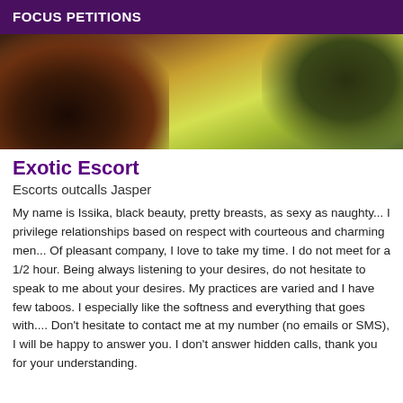FOCUS PETITIONS
[Figure (photo): Partial photo of a person against a yellow-green background, showing torso and arm with dark clothing/boots]
Exotic Escort
Escorts outcalls Jasper
My name is Issika, black beauty, pretty breasts, as sexy as naughty... I privilege relationships based on respect with courteous and charming men... Of pleasant company, I love to take my time. I do not meet for a 1/2 hour. Being always listening to your desires, do not hesitate to speak to me about your desires. My practices are varied and I have few taboos. I especially like the softness and everything that goes with.... Don't hesitate to contact me at my number (no emails or SMS), I will be happy to answer you. I don't answer hidden calls, thank you for your understanding.